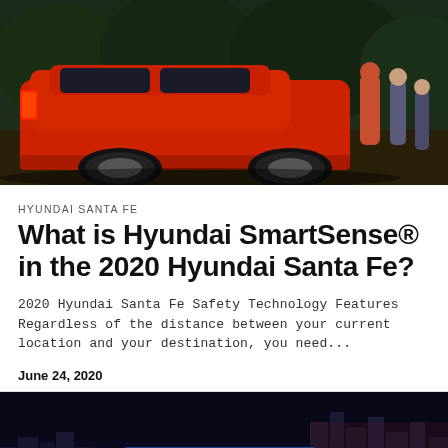[Figure (photo): Rear view of a red Hyundai Santa Fe SUV parked outdoors in a forest setting with people standing nearby]
HYUNDAI SANTA FE
What is Hyundai SmartSense® in the 2020 Hyundai Santa Fe?
2020 Hyundai Santa Fe Safety Technology Features Regardless of the distance between your current location and your destination, you need...
June 24, 2020
[Figure (photo): Front view of a blue Hyundai Tucson SUV driving on a city road at night with illuminated skyline in the background]